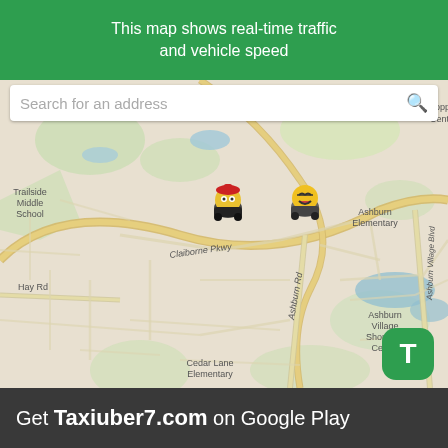This map shows real-time traffic and vehicle speed
[Figure (map): Real-time traffic map of Ashburn, VA area showing Claiborne Pkwy, Ashburn Rd, Ashburn Village Blvd, Hay Rd, Trailside Middle School, Ashburn Elementary, Ashburn Village Shopping Center, Cedar Lane Elementary, with two Waze-style vehicle icons on the road]
Get Taxiuber7.com on Google Play